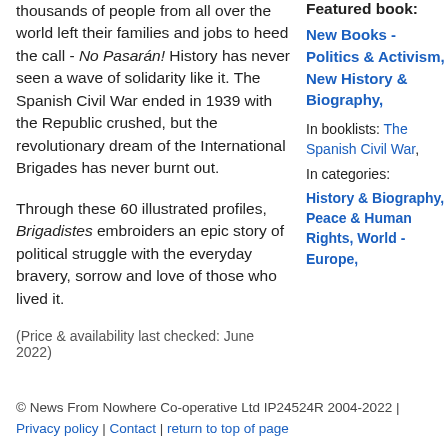thousands of people from all over the world left their families and jobs to heed the call - No Pasarán! History has never seen a wave of solidarity like it. The Spanish Civil War ended in 1939 with the Republic crushed, but the revolutionary dream of the International Brigades has never burnt out.
Through these 60 illustrated profiles, Brigadistes embroiders an epic story of political struggle with the everyday bravery, sorrow and love of those who lived it.
Featured book:
New Books - Politics & Activism, New History & Biography,
In booklists: The Spanish Civil War,
In categories: History & Biography, Peace & Human Rights, World - Europe,
(Price & availability last checked: June 2022)
© News From Nowhere Co-operative Ltd IP24524R 2004-2022 | Privacy policy | Contact | return to top of page